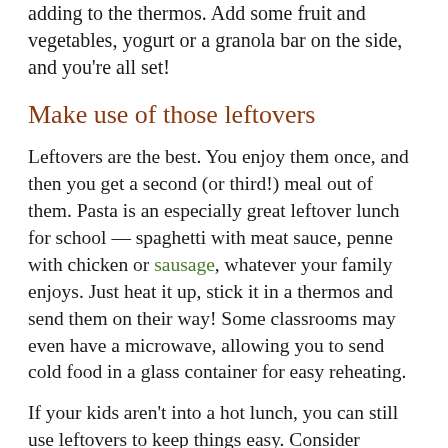adding to the thermos. Add some fruit and vegetables, yogurt or a granola bar on the side, and you're all set!
Make use of those leftovers
Leftovers are the best. You enjoy them once, and then you get a second (or third!) meal out of them. Pasta is an especially great leftover lunch for school — spaghetti with meat sauce, penne with chicken or sausage, whatever your family enjoys. Just heat it up, stick it in a thermos and send them on their way! Some classrooms may even have a microwave, allowing you to send cold food in a glass container for easy reheating.
If your kids aren't into a hot lunch, you can still use leftovers to keep things easy. Consider turning leftover ham or chicken into a sandwich with sliced cheese, or a wrap with lettuce and ranch or Caesar dressing.